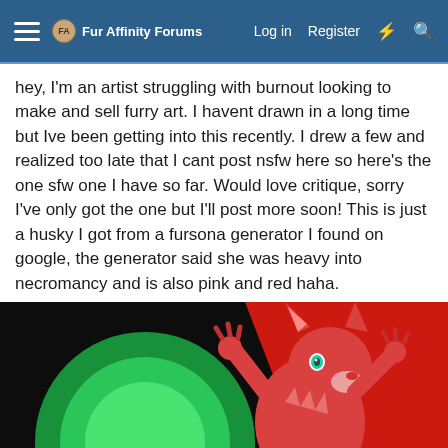Fur Affinity Forums — Log in  Register
hey, I'm an artist struggling with burnout looking to make and sell furry art. I havent drawn in a long time but Ive been getting into this recently. I drew a few and realized too late that I cant post nsfw here so here's the one sfw one I have so far. Would love critique, sorry I've only got the one but I'll post more soon! This is just a husky I got from a fursona generator I found on google, the generator said she was heavy into necromancy and is also pink and red haha.
[Figure (illustration): Digital artwork of a red/pink husky character with teal eyes, raising its paws up, set against a green glowing circle on a dark background with a red upper right area.]
This site uses cookies to help personalise content, tailor your experience and to keep you logged in if you register.
By continuing to use this site, you are consenting to our use of cookies.
✓ Accept    Learn more...